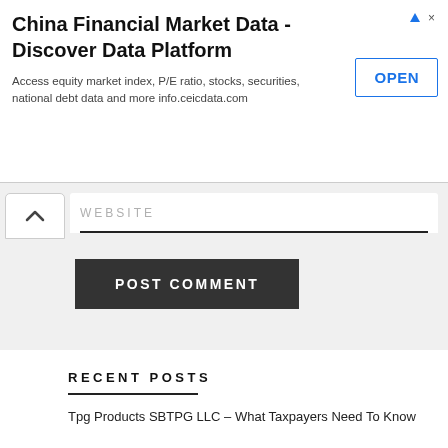[Figure (screenshot): Advertisement banner for China Financial Market Data - Discover Data Platform with OPEN button]
WEBSITE
POST COMMENT
[Figure (illustration): Social media icons: Facebook, Twitter, RSS feed]
RECENT POSTS
Tpg Products SBTPG LLC – What Taxpayers Need To Know